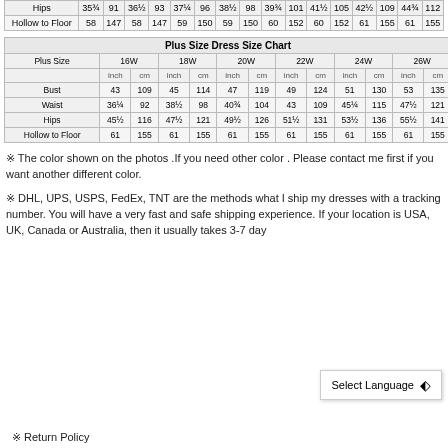|  | inch | cm |
| --- | --- | --- |
| Hips | 35¾ | 91 | 36½ | 93 | 37¼ | 96 | 38½ | 98 | 39¾ | 101 | 41½ | 105 | 42½ | 109 | 44¾ | 112 |
| Hollow to Floor | 58 | 147 | 58 | 147 | 59 | 150 | 59 | 150 | 60 | 152 | 60 | 152 | 61 | 155 | 61 | 155 |
| Plus Size | 16W inch | 16W cm | 18W inch | 18W cm | 20W inch | 20W cm | 22W inch | 22W cm | 24W inch | 24W cm | 26W inch | 26W cm |
| --- | --- | --- | --- | --- | --- | --- | --- | --- | --- | --- | --- | --- |
| Bust | 43 | 109 | 45 | 114 | 47 | 119 | 49 | 124 | 51 | 130 | 53 | 135 |
| Waist | 36¼ | 92 | 38½ | 98 | 40¾ | 104 | 43 | 109 | 45¼ | 115 | 47½ | 121 |
| Hips | 45½ | 116 | 47½ | 121 | 49½ | 126 | 51½ | 131 | 53½ | 136 | 55½ | 141 |
| Hollow to Floor | 61 | 155 | 61 | 155 | 61 | 155 | 61 | 155 | 61 | 155 | 61 | 155 |
※ The color shown on the photos .If you need other color . Please contact me first if you want another different color.
※ DHL, UPS, USPS, FedEx, TNT are the methods what I ship my dresses with a tracking number. You will have a very fast and safe shipping experience. If your location is USA, UK, Canada or Australia, then it usually takes 3-7 day
※ Return Policy